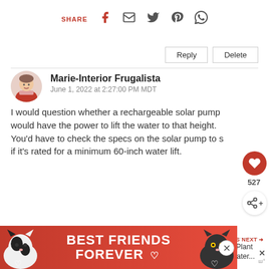SHARE [facebook] [email] [twitter] [pinterest] [whatsapp]
Reply   Delete
Marie-Interior Frugalista
June 1, 2022 at 2:27:00 PM MDT
I would question whether a rechargeable solar pump would have the power to lift the water to that height. You'd have to check the specs on the solar pump to see if it's rated for a minimum 60-inch water lift.
[Figure (infographic): Ad banner at bottom: black and white cats with text BEST FRIENDS FOREVER with heart icons on red/pink background]
WHAT'S NEXT → Solar Plant Pot Water...